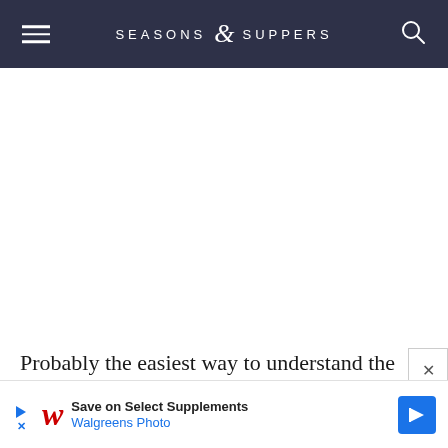SEASONS & SUPPERS
[Figure (screenshot): White blank area representing page content/image space]
Probably the easiest way to understand the difference is to think of pork the same way you think of beef. Pork tenderloin is equiv... er
[Figure (screenshot): Advertisement banner: Save on Select Supplements - Walgreens Photo]